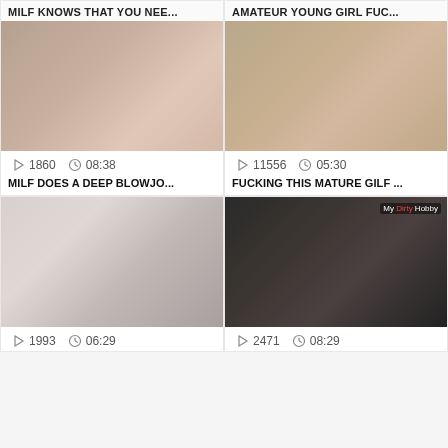MILF KNOWS THAT YOU NEE...
AMATEUR YOUNG GIRL FUC...
[Figure (photo): Video thumbnail showing two people on a bed]
[Figure (photo): Video thumbnail showing a woman in a hotel room]
1860   08:38
11556   05:30
MILF DOES A DEEP BLOWJO...
FUCKING THIS MATURE GILF ...
[Figure (photo): Video thumbnail showing explicit content from behind]
[Figure (photo): Video thumbnail showing explicit content, My Dirty Hobby watermark]
1993   06:29
2471   08:29